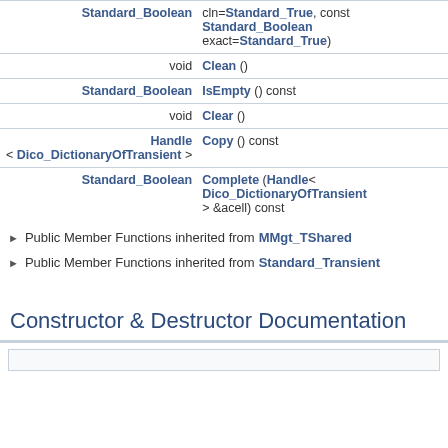| Return Type | Function |
| --- | --- |
| Standard_Boolean | cln=Standard_True, const Standard_Boolean exact=Standard_True) |
| void | Clean () |
| Standard_Boolean | IsEmpty () const |
| void | Clear () |
| Handle < Dico_DictionaryOfTransient > | Copy () const |
| Standard_Boolean | Complete (Handle< Dico_DictionaryOfTransient > &acell) const |
Public Member Functions inherited from MMgt_TShared
Public Member Functions inherited from Standard_Transient
Constructor & Destructor Documentation